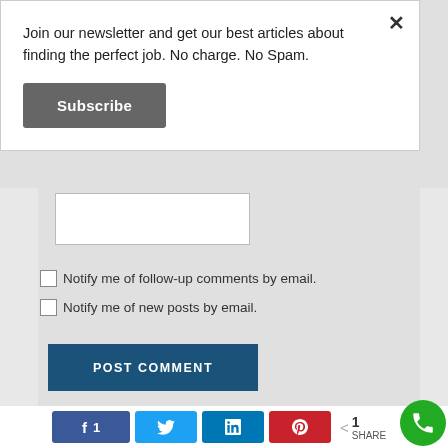Join our newsletter and get our best articles about finding the perfect job. No charge. No Spam.
Subscribe
[Figure (screenshot): Partial view of a comment form with a text input box]
Notify me of follow-up comments by email.
Notify me of new posts by email.
POST COMMENT
[Figure (infographic): Social share bar with Facebook (1), Twitter, LinkedIn, Pinterest buttons and a share count, plus a green phone button]